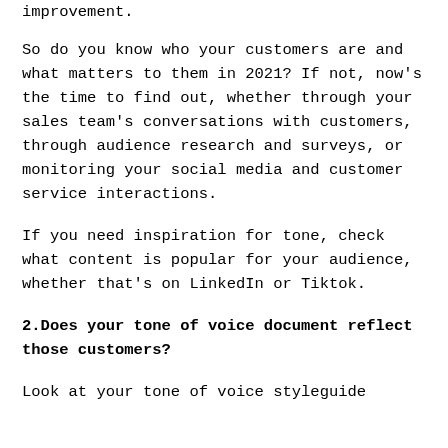improvement.
So do you know who your customers are and what matters to them in 2021? If not, now’s the time to find out, whether through your sales team’s conversations with customers, through audience research and surveys, or monitoring your social media and customer service interactions.
If you need inspiration for tone, check what content is popular for your audience, whether that’s on LinkedIn or Tiktok.
2.Does your tone of voice document reflect those customers?
Look at your tone of voice styleguide